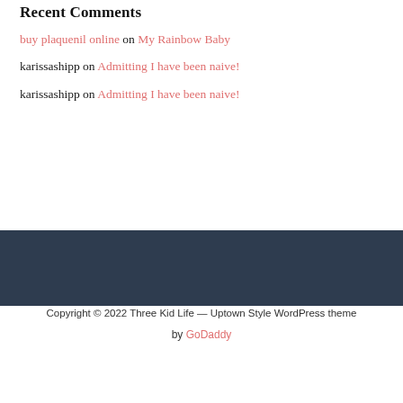Recent Comments
buy plaquenil online on My Rainbow Baby
karissashipp on Admitting I have been naive!
karissashipp on Admitting I have been naive!
Copyright © 2022 Three Kid Life — Uptown Style WordPress theme by GoDaddy